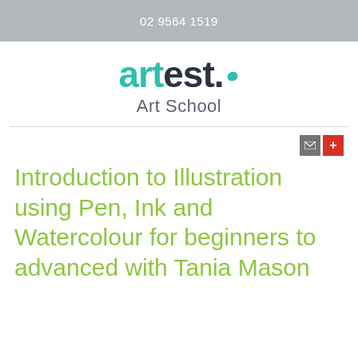02 9564 1519
[Figure (logo): artest. Art School logo — 'art' in teal/green, 'est.' in dark navy, followed by a teal brush-stroke dot. 'Art School' in grey below.]
Introduction to Illustration using Pen, Ink and Watercolour for beginners to advanced with Tania Mason